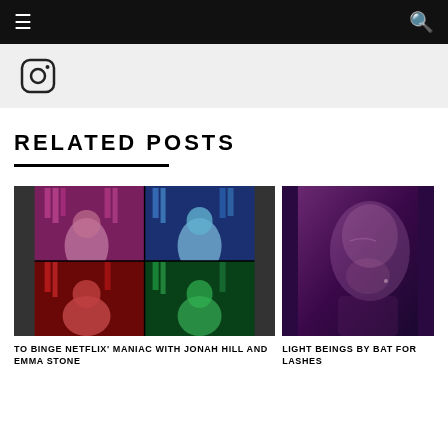☰  🔍
[Figure (logo): Instagram icon in grey header area]
RELATED POSTS
[Figure (photo): Netflix Maniac promotional image - 4-panel grid with Jonah Hill and Emma Stone in colorful lighting (purple, blue, red, green)]
[Figure (photo): Light Beings by Bat for Lashes - close-up portrait of a woman in purple/dark tones]
TO BINGE NETFLIX' MANIAC WITH JONAH HILL AND EMMA STONE
LIGHT BEINGS BY BAT FOR LASHES